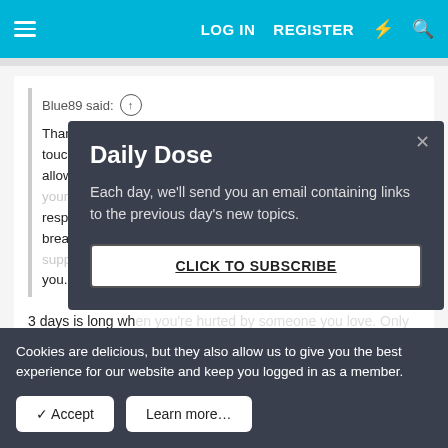LOG IN   REGISTER
Blue89 said: ↑

Thank you for yo... touch because I'll... allow me to be by... response not long... breaking. I really... you. I just hope h...
3 days is long wh... you, and only you... it happened to me... yes, and I left him alone for a few weeks at a time, but then I
[Figure (screenshot): Daily Dose modal popup on dark background with title 'Daily Dose', body text 'Each day, we'll send you an email containing links to the previous day's new topics.' and a 'CLICK TO SUBSCRIBE' button]
Cookies are delicious, but they also allow us to give you the best experience for our website and keep you logged in as a member.
✓ Accept    Learn more…